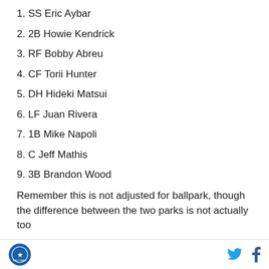1. SS Eric Aybar
2. 2B Howie Kendrick
3. RF Bobby Abreu
4. CF Torii Hunter
5. DH Hideki Matsui
6. LF Juan Rivera
7. 1B Mike Napoli
8. C Jeff Mathis
9. 3B Brandon Wood
Remember this is not adjusted for ballpark, though the difference between the two parks is not actually too